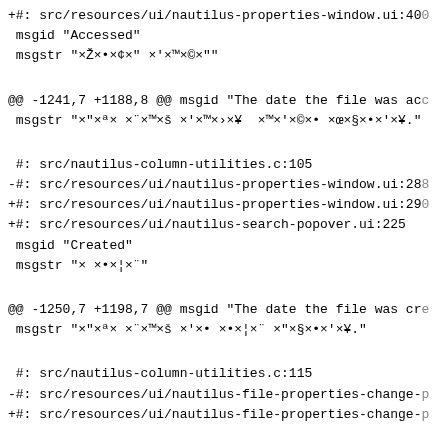+#: src/resources/ui/nautilus-properties-window.ui:400
 msgid "Accessed"
 msgstr "×Ž×•×¢×" ×'×™×©×""
@@ -1241,7 +1188,8 @@ msgid "The date the file was acc
 msgstr "×"×ª×\ ×¨×™×š ×'×•  ×™×'×©×• ×œ×§×•×'×¥."
#: src/nautilus-column-utilities.c:105
-#: src/resources/ui/nautilus-properties-window.ui:288
+#: src/resources/ui/nautilus-properties-window.ui:290
+#: src/resources/ui/nautilus-search-popover.ui:225
 msgid "Created"
 msgstr "× ×•×¦×¨"
@@ -1250,7 +1198,7 @@ msgid "The date the file was cre
 msgstr "×"×ª×\ ×¨×™×š ×'×• ×•×¦×¨ ×"×§×•×'×¥."
#: src/nautilus-column-utilities.c:115
-#: src/resources/ui/nautilus-file-properties-change-p
+#: src/resources/ui/nautilus-file-properties-change-p